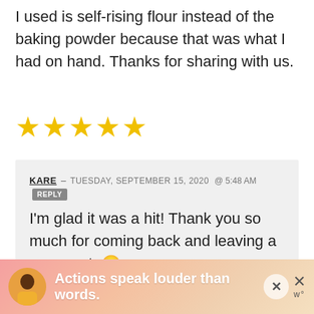I used is self-rising flour instead of the baking powder because that was what I had on hand. Thanks for sharing with us.
[Figure (other): Five yellow star rating icons]
KARE — TUESDAY, SEPTEMBER 15, 2020 @ 5:48 AM [REPLY]
I'm glad it was a hit! Thank you so much for coming back and leaving a comment. 🙂
JOANNA VALDEZ — SATURDAY, MARCH 6...
[Figure (other): Advertisement banner: Actions speak louder than words. Shows a person illustration on pink/warm gradient background with close buttons.]